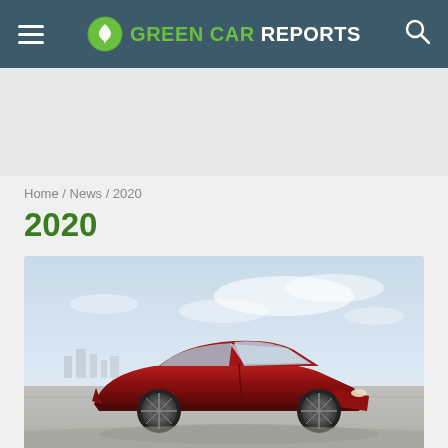GREEN CAR REPORTS
Home / News / 2020
2020
[Figure (photo): Red Tesla Model 3 sedan driving on a flat road with a hazy skyline and cloudy sky in the background]